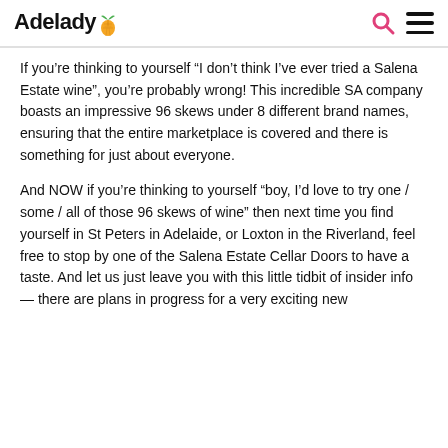Adelady
If you’re thinking to yourself “I don’t think I’ve ever tried a Salena Estate wine”, you’re probably wrong! This incredible SA company boasts an impressive 96 skews under 8 different brand names, ensuring that the entire marketplace is covered and there is something for just about everyone.
And NOW if you’re thinking to yourself “boy, I’d love to try one / some / all of those 96 skews of wine” then next time you find yourself in St Peters in Adelaide, or Loxton in the Riverland, feel free to stop by one of the Salena Estate Cellar Doors to have a taste. And let us just leave you with this little tidbit of insider info — there are plans in progress for a very exciting new